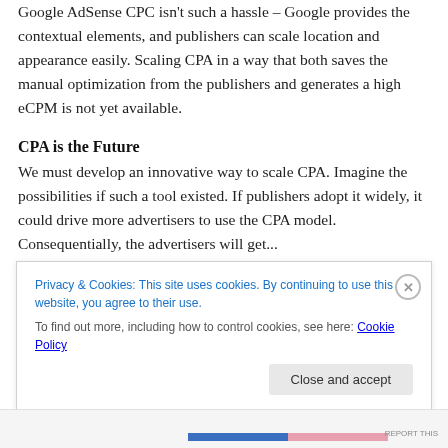Google AdSense CPC isn't such a hassle – Google provides the contextual elements, and publishers can scale location and appearance easily. Scaling CPA in a way that both saves the manual optimization from the publishers and generates a high eCPM is not yet available.
CPA is the Future
We must develop an innovative way to scale CPA. Imagine the possibilities if such a tool existed. If publishers adopt it widely, it could drive more advertisers to use the CPA model. Consequentially, the advertisers will get...
Privacy & Cookies: This site uses cookies. By continuing to use this website, you agree to their use.
To find out more, including how to control cookies, see here: Cookie Policy
Close and accept